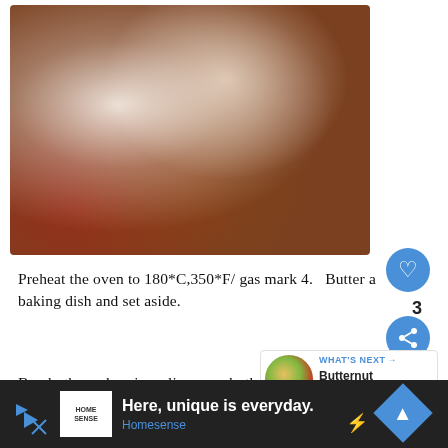[Figure (photo): Photo of layered aubergine/eggplant bake with melted cheese and tomato sauce on a white plate, viewed close up. The dish shows multiple layers with golden-brown cheese on top.]
Preheat the oven to 180*C,350*F/ gas mark 4.   Butter a baking dish and set aside.
Brush the aubergine slices on both sides wi... oil.  Lay them out onto a large baking sheet in a single layer, or two if necessary.  Bang the trays into the oven and roast
[Figure (photo): WHAT'S NEXT thumbnail showing Butternut Squash Bak... with a round food image]
Here, unique is everyday.
Homesense